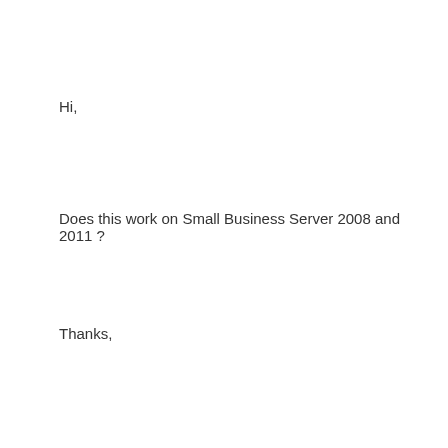Hi,
Does this work on Small Business Server 2008 and 2011 ?
Thanks,
Reply ↓
Riemsesy
February 28, 2013 at 3:26 pm
doesn't work in exchange 2013
http://social.technet.microsoft.com/Forums/en-US/exchangeserverpreview/thread/921dc266-419a-4093-a918-84816168b4d4/